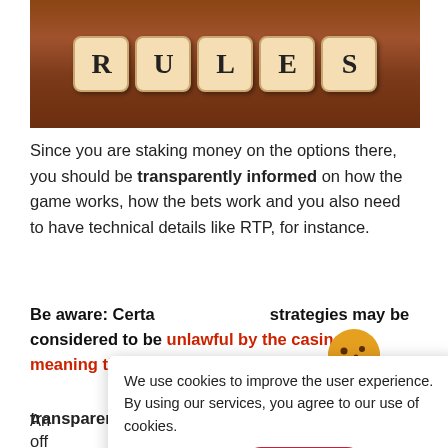[Figure (photo): Wooden letter dice spelling RULES on a wooden table surface]
Since you are staking money on the options there, you should be transparently informed on how the game works, how the bets work and you also need to have technical details like RTP, for instance.
Be aware: Certain strategies may be considered to be unlawful by the casino, meaning that employing them may...
An ... consists of the off... and may change de... talking about. These de... formation, fair and transparent.
[Figure (illustration): Cookie icon illustration with stacked cookies]
We use cookies to improve the user experience. By using our services, you agree to our use of cookies.
Privacy Policy
Ok